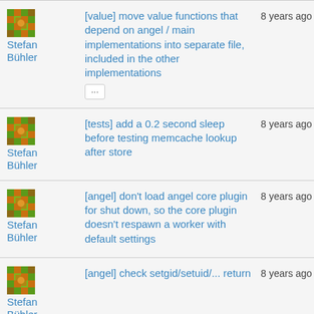Stefan Bühler | [value] move value functions that depend on angel / main implementations into separate file, included in the other implementations ... | 8 years ago
Stefan Bühler | [tests] add a 0.2 second sleep before testing memcache lookup after store | 8 years ago
Stefan Bühler | [angel] don't load angel core plugin for shut down, so the core plugin doesn't respawn a worker with default settings | 8 years ago
Stefan Bühler | [angel] check setgid/setuid/... return | 8 years ago